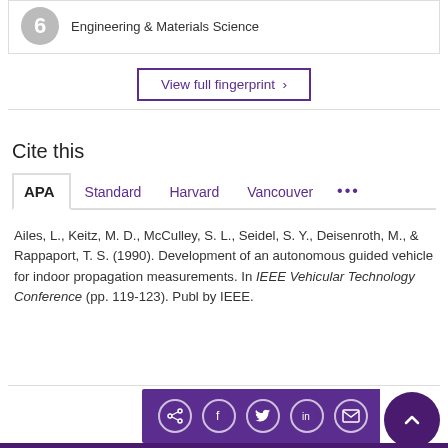Engineering & Materials Science
View full fingerprint ›
Cite this
APA   Standard   Harvard   Vancouver   ...
Ailes, L., Keitz, M. D., McCulley, S. L., Seidel, S. Y., Deisenroth, M., & Rappaport, T. S. (1990). Development of an autonomous guided vehicle for indoor propagation measurements. In IEEE Vehicular Technology Conference (pp. 119-123). Publ by IEEE.